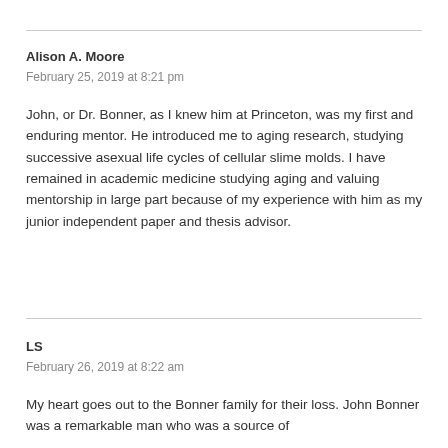Alison A. Moore
February 25, 2019 at 8:21 pm
John, or Dr. Bonner, as I knew him at Princeton, was my first and enduring mentor. He introduced me to aging research, studying successive asexual life cycles of cellular slime molds. I have remained in academic medicine studying aging and valuing mentorship in large part because of my experience with him as my junior independent paper and thesis advisor.
LS
February 26, 2019 at 8:22 am
My heart goes out to the Bonner family for their loss. John Bonner was a remarkable man who was a source of